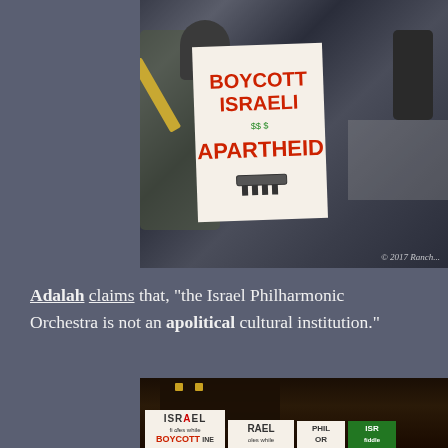[Figure (photo): Protest photo showing a man holding a sign reading 'BOYCOTT ISRAELI APARTHEID' with green footprints, and a trombone player in the background. Copyright 2017 watermark visible.]
Adalah claims that, “the Israel Philharmonic Orchestra is not an apolitical cultural institution.”
[Figure (photo): Protest photo at night showing demonstrators holding signs reading 'ISRAEL fiddles while BOYCOTT INE', 'ISRAEL oles while', 'PHIL OR', and a green sign with 'ISR fiddle'.]